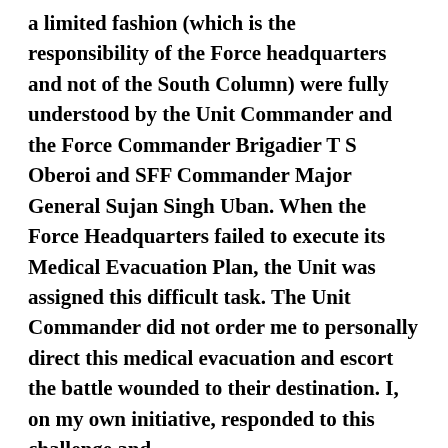a limited fashion (which is the responsibility of the Force headquarters and not of the South Column) were fully understood by the Unit Commander and the Force Commander Brigadier T S Oberoi and SFF Commander Major General Sujan Singh Uban. When the Force Headquarters failed to execute its Medical Evacuation Plan, the Unit was assigned this difficult task. The Unit Commander did not order me to personally direct this medical evacuation and escort the battle wounded to their destination. I, on my own initiative, responded to this challenge and